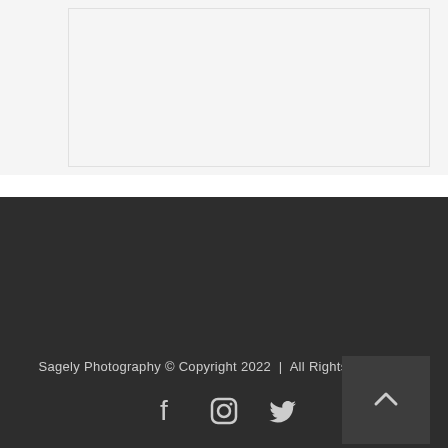[Figure (photo): Light gray content area placeholder at the top of the page]
Sagely Photography © Copyright 2022  |  All Rights Reserved
[Figure (illustration): Social media icons: Facebook, Instagram, Twitter in white on dark background, and a back-to-top arrow button on the right]